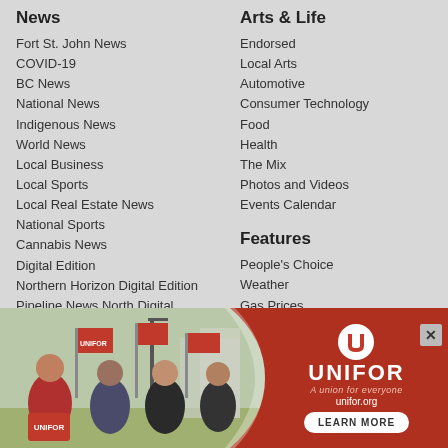News
Fort St. John News
COVID-19
BC News
National News
Indigenous News
World News
Local Business
Local Sports
Local Real Estate News
National Sports
Cannabis News
Digital Edition
Northern Horizon Digital Edition
Pipeline News North Digital Edition
Arts & Life
Endorsed
Local Arts
Automotive
Consumer Technology
Food
Health
The Mix
Photos and Videos
Events Calendar
Features
People's Choice
Weather
Gas Prices
StandOut
[Figure (photo): Unifor union advertisement banner showing people holding red flags at a rally/protest outdoors, with Unifor logo, tagline 'A union for everyone', website unifor.org, and a 'LEARN MORE' button.]